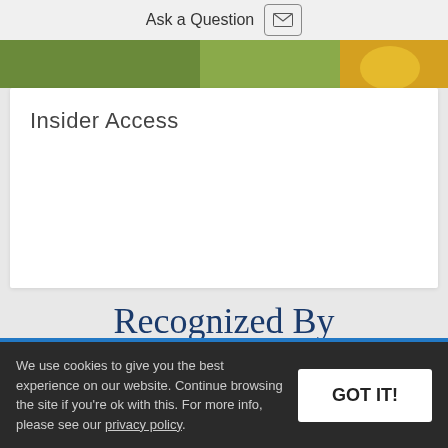Ask a Question
[Figure (photo): Partial photo strip showing green grass and a yellow object]
Insider Access
Recognized By
All News
[Figure (logo): National Geographic Traveler logo]
We use cookies to give you the best experience on our website. Continue browsing the site if you're ok with this. For more info, please see our privacy policy.